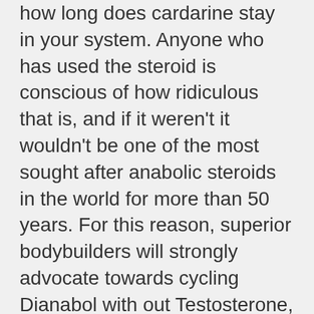how long does cardarine stay in your system. Anyone who has used the steroid is conscious of how ridiculous that is, and if it weren't it wouldn't be one of the most sought after anabolic steroids in the world for more than 50 years. For this reason, superior bodybuilders will strongly advocate towards cycling Dianabol with out Testosterone, how long does it take clenbuterol to work. Bodybuilders report that whereas taking Dbol solely, libido is impacted.
How long does clenbuterol work for, proviron and masteron cycle
Client wanted one thing totally different from the on a